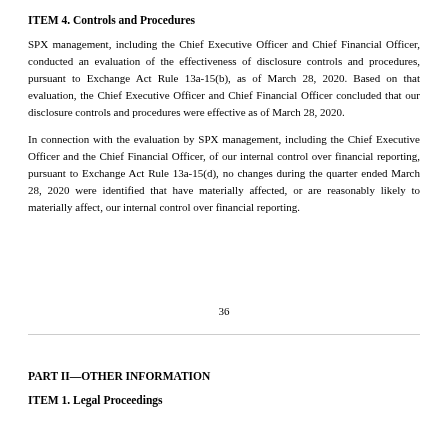ITEM 4. Controls and Procedures
SPX management, including the Chief Executive Officer and Chief Financial Officer, conducted an evaluation of the effectiveness of disclosure controls and procedures, pursuant to Exchange Act Rule 13a-15(b), as of March 28, 2020. Based on that evaluation, the Chief Executive Officer and Chief Financial Officer concluded that our disclosure controls and procedures were effective as of March 28, 2020.
In connection with the evaluation by SPX management, including the Chief Executive Officer and the Chief Financial Officer, of our internal control over financial reporting, pursuant to Exchange Act Rule 13a-15(d), no changes during the quarter ended March 28, 2020 were identified that have materially affected, or are reasonably likely to materially affect, our internal control over financial reporting.
36
PART II—OTHER INFORMATION
ITEM 1. Legal Proceedings